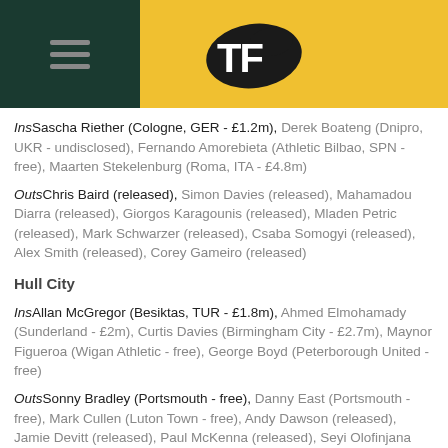TF (logo)
Ins Sascha Riether (Cologne, GER - £1.2m), Derek Boateng (Dnipro, UKR - undisclosed), Fernando Amorebieta (Athletic Bilbao, SPN - free), Maarten Stekelenburg (Roma, ITA - £4.8m)
Outs Chris Baird (released), Simon Davies (released), Mahamadou Diarra (released), Giorgos Karagounis (released), Mladen Petric (released), Mark Schwarzer (released), Csaba Somogyi (released), Alex Smith (released), Corey Gameiro (released)
Hull City
Ins Allan McGregor (Besiktas, TUR - £1.8m), Ahmed Elmohamady (Sunderland - £2m), Curtis Davies (Birmingham City - £2.7m), Maynor Figueroa (Wigan Athletic - free), George Boyd (Peterborough United - free)
Outs Sonny Bradley (Portsmouth - free), Danny East (Portsmouth - free), Mark Cullen (Luton Town - free), Andy Dawson (released), Jamie Devitt (released), Paul McKenna (released), Seyi Olofinjana (released), Jay Simpson (released)